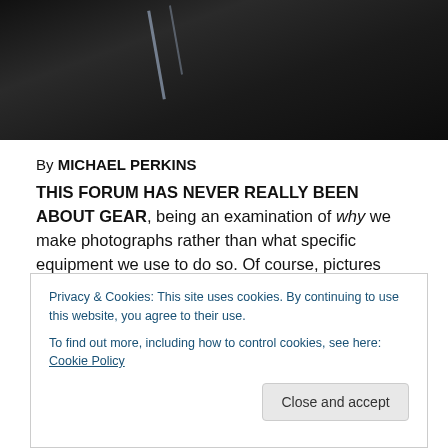[Figure (photo): Dark abstract photograph, mostly black with faint diagonal light streaks/reflections]
By MICHAEL PERKINS
THIS FORUM HAS NEVER REALLY BEEN ABOUT GEAR, being an examination of why we make photographs rather than what specific equipment we use to do so. Of course, pictures aren't born in a vacuum, so, even with the purest artistic motives, you still need a mechanism of some kind to carry out your wishes — and
Privacy & Cookies: This site uses cookies. By continuing to use this website, you agree to their use.
To find out more, including how to control cookies, see here: Cookie Policy
simply too many such advisories littering up the webby